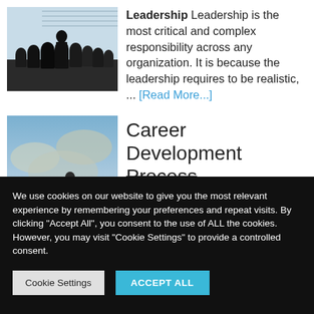[Figure (photo): Silhouettes of a group of people in a meeting room or auditorium, dark figures against a bright background]
Leadership  Leadership is the most critical and complex responsibility across any organization. It is because the leadership requires to be realistic, ... [Read More...]
[Figure (photo): A person climbing stairs in a dramatic cloudy sky, representing career development]
Career Development Process
We use cookies on our website to give you the most relevant experience by remembering your preferences and repeat visits. By clicking “Accept All”, you consent to the use of ALL the cookies. However, you may visit "Cookie Settings" to provide a controlled consent.